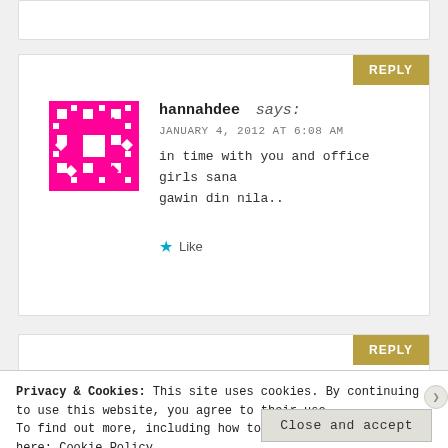hannahdee says: JANUARY 4, 2012 AT 6:08 AM in time with you and office girls sana gawin din nila.. Like
Dustin Koerner says: JANUARY 11, 2012 AT 1:10 PM
Privacy & Cookies: This site uses cookies. By continuing to use this website, you agree to their use. To find out more, including how to control cookies, see here: Cookie Policy
Close and accept